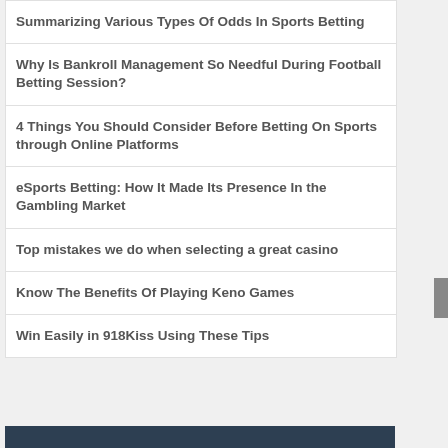Summarizing Various Types Of Odds In Sports Betting
Why Is Bankroll Management So Needful During Football Betting Session?
4 Things You Should Consider Before Betting On Sports through Online Platforms
eSports Betting: How It Made Its Presence In the Gambling Market
Top mistakes we do when selecting a great casino
Know The Benefits Of Playing Keno Games
Win Easily in 918Kiss Using These Tips